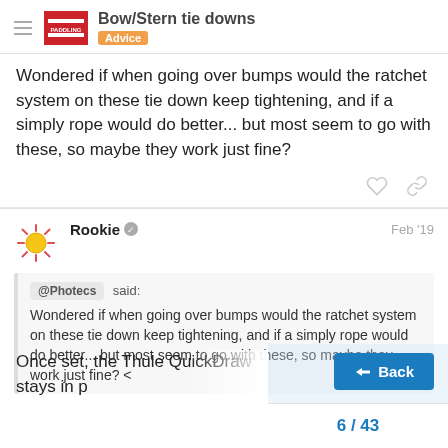Bow/Stern tie downs — Advice
Wondered if when going over bumps would the ratchet system on these tie down keep tightening, and if a simply rope would do better... but most seem to go with these, so maybe they work just fine?
Rookie — Feb '19
@Photecs said: Wondered if when going over bumps would the ratchet system on these tie down keep tightening, and if a simply rope would do better... but most seem to go with these, so maybe they work just fine? <
Once set, the Thule QuickDraw stays in p or loosen. A secure and efficient tie-dow